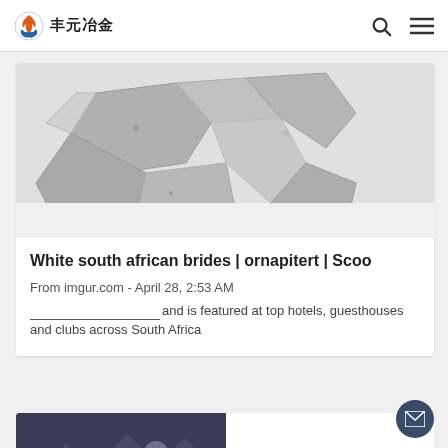丰元冶金
[Figure (photo): Gray stone/rock chunks piled together on white background]
White south african brides | ornapitert | Scoo
From imgur.com - April 28, 2:53 AM
______________________and is featured at top hotels, guesthouses and clubs across South Africa
[Figure (photo): Dark metallic mineral/ore chunks]